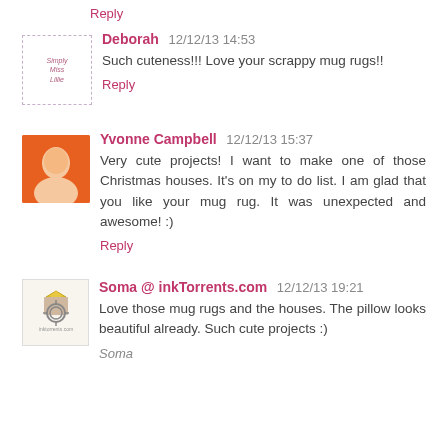Reply
Deborah  12/12/13 14:53
Such cuteness!!! Love your scrappy mug rugs!!
Reply
Yvonne Campbell  12/12/13 15:37
Very cute projects! I want to make one of those Christmas houses. It's on my to do list. I am glad that you like your mug rug. It was unexpected and awesome! :)
Reply
Soma @ inkTorrents.com  12/12/13 19:21
Love those mug rugs and the houses. The pillow looks beautiful already. Such cute projects :)
Soma